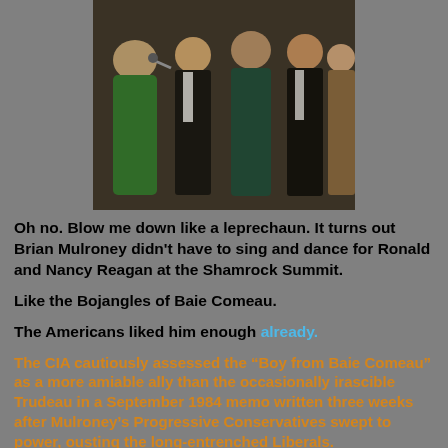[Figure (photo): A group of four people standing on a stage, two women and two men, appearing to be at a formal event. One woman wears a green patterned outfit, another wears a light-colored sequined dress. The men wear tuxedos. The image appears to be from the 1980s.]
Oh no. Blow me down like a leprechaun. It turns out Brian Mulroney didn't have to sing and dance for Ronald and Nancy Reagan at the Shamrock Summit.
Like the Bojangles of Baie Comeau.
The Americans liked him enough already.
The CIA cautiously assessed the “Boy from Baie Comeau” as a more amiable ally than the occasionally irascible Trudeau in a September 1984 memo written three weeks after Mulroney’s Progressive Conservatives swept to power, ousting the long-entrenched Liberals.